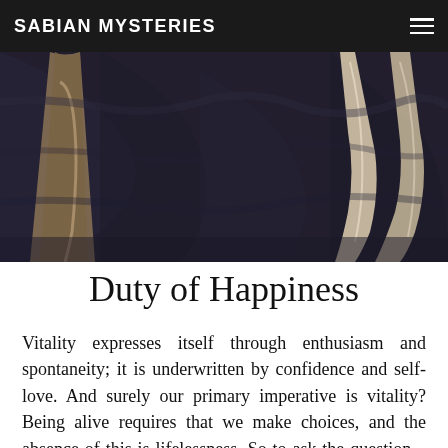SABIAN MYSTERIES
[Figure (photo): Artistic black and white photograph showing partial view of a figure, with arms/legs visible against a dark painted background.]
Duty of Happiness
Vitality expresses itself through enthusiasm and spontaneity; it is underwritten by confidence and self-love. And surely our primary imperative is vitality? Being alive requires that we make choices, and the absence of this is lifelessness. So to ask the question – why is my life so dispiriting? begs the answer – because you made a series of choices that betrayed your authenticity. Then the question becomes – what can I do? and the answer is